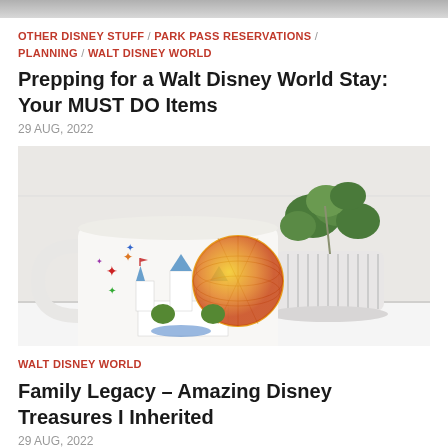[Figure (photo): Top cropped image strip, partial view of a previous article image]
OTHER DISNEY STUFF / PARK PASS RESERVATIONS / PLANNING / WALT DISNEY WORLD
Prepping for a Walt Disney World Stay: Your MUST DO Items
29 AUG, 2022
[Figure (photo): A Disney-themed mug with Cinderella Castle and Epcot Spaceship Earth design, placed on a white shelf next to a small potted green plant in a ribbed white planter]
WALT DISNEY WORLD
Family Legacy – Amazing Disney Treasures I Inherited
29 AUG, 2022